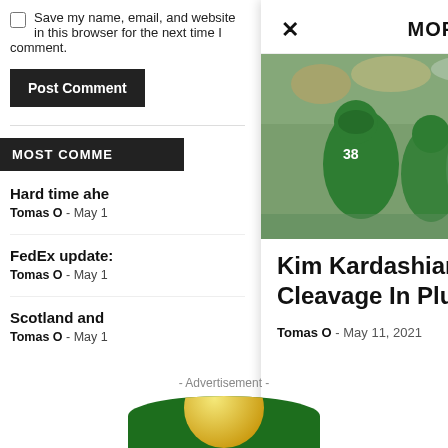Save my name, email, and website in this browser for the next time I comment.
Post Comment
MOST COMME
Hard time ahe
Tomas O - May 1
FedEx update:
Tomas O - May 1
Scotland and
Tomas O - May 1
MORE STORIES
[Figure (photo): Football game action photo: green-uniformed players tackling a Navy (white uniform, number 26) player carrying the ball, with crowd in background]
Kim Kardashian Shows Off Deep Cleavage In Plunging Top & Mini
Tomas O - May 11, 2021
0
- Advertisement -